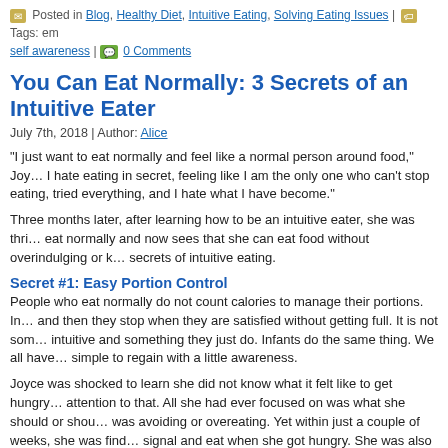Posted in Blog, Healthy Diet, Intuitive Eating, Solving Eating Issues | Tags: ... self awareness | 0 Comments
You Can Eat Normally: 3 Secrets of an Intuitive Eater
July 7th, 2018 | Author: Alice
“I just want to eat normally and feel like a normal person around food,” Joy... I hate eating in secret, feeling like I am the only one who can’t stop eating, tried everything, and I hate what I have become.”
Three months later, after learning how to be an intuitive eater, she was thri... eat normally and now sees that she can eat food without overindulging or k... secrets of intuitive eating.
Secret #1: Easy Portion Control
People who eat normally do not count calories to manage their portions. In... and then they stop when they are satisfied without getting full. It is not som... intuitive and something they just do. Infants do the same thing. We all have simple to regain with a little awareness.
Joyce was shocked to learn she did not know what it felt like to get hungry... attention to that. All she had ever focused on was what she should or shou... was avoiding or overeating. Yet within just a couple of weeks, she was find... signal and eat when she got hungry. She was also amazed that she did rea... enough and could stop before getting full. The best part was; she felt so m... worry about portions. She was getting exactly the right amount of food to f... levels by trusting her hunger levels and intuition.
Secret #2: Controlling Cravings
Even if you are aware of eating fully and biting food slowly...